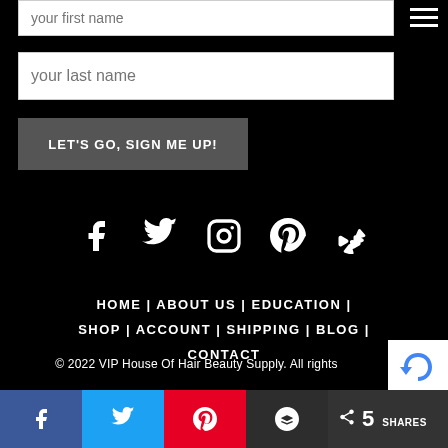your first name
your last name
LET'S GO, SIGN ME UP!
[Figure (infographic): Social media icons row: Facebook, Twitter, Instagram, Pinterest, Yelp — white icons on black background]
HOME | ABOUT US | EDUCATION | SHOP | ACCOUNT | SHIPPING | BLOG | CONTACT
© 2022 VIP House Of Hair Beauty Supply. All rights
[Figure (infographic): Social share bar with Facebook, Twitter, Pinterest, Buffer buttons and share count of 5 SHARES]